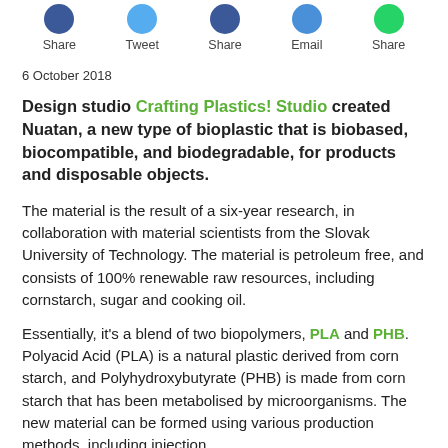[Figure (infographic): Social sharing buttons row: Share (Facebook, blue), Tweet (Twitter, light blue), Share (Pinterest, dark blue), Email (blue), Share (WhatsApp, green) with circular icons above each label]
6 October 2018
Design studio Crafting Plastics! Studio created Nuatan, a new type of bioplastic that is biobased, biocompatible, and biodegradable, for products and disposable objects.
The material is the result of a six-year research, in collaboration with material scientists from the Slovak University of Technology. The material is petroleum free, and consists of 100% renewable raw resources, including cornstarch, sugar and cooking oil.
Essentially, it’s a blend of two biopolymers, PLA and PHB. Polyacid Acid (PLA) is a natural plastic derived from corn starch, and Polyhydroxybutyrate (PHB) is made from corn starch that has been metabolised by microorganisms. The new material can be formed using various production methods, including injection